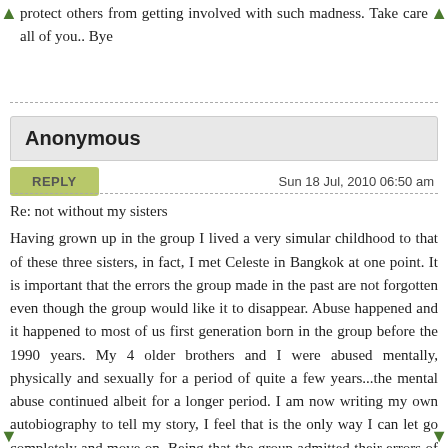protect others from getting involved with such madness. Take care all of you.. Bye
Anonymous
REPLY   Sun 18 Jul, 2010 06:50 am
Re: not without my sisters
Having grown up in the group I lived a very simular childhood to that of these three sisters, in fact, I met Celeste in Bangkok at one point. It is important that the errors the group made in the past are not forgotten even though the group would like it to disappear. Abuse happened and it happened to most of us first generation born in the group before the 1990 years. My 4 older brothers and I were abused mentally, physically and sexually for a period of quite a few years...the mental abuse continued albeit for a longer period. I am now writing my own autobiography to tell my story, I feel that is the only way I can let go completely and move on. Being that the group admitted their errors of the past perhaps they should be obligated to